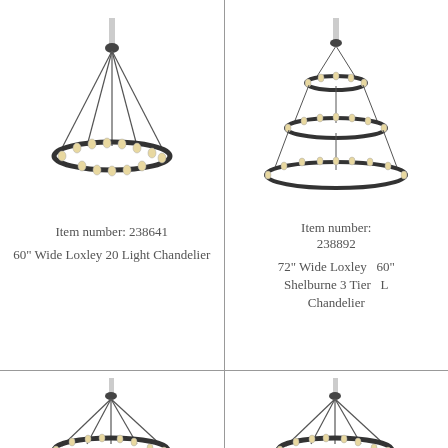[Figure (illustration): 60-inch wide single-ring chandelier with hanging lights, viewed from slight angle]
Item number: 238641
60" Wide Loxley 20 Light Chandelier
[Figure (illustration): 72-inch wide 3-tier tiered chandelier (Shelburne), viewed from slight angle, with crystal/candle lights on each tier]
Item number:
238892
72" Wide Loxley Shelburne 3 Tier Chandelier
[Figure (illustration): Single-ring chandelier with hanging lights, bottom row left, partially visible]
[Figure (illustration): Single-ring chandelier with hanging lights, bottom row right, partially visible]